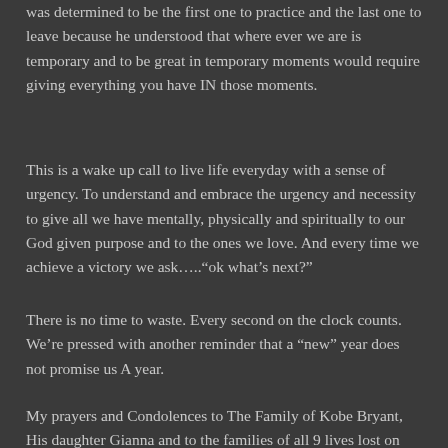was determined to be the first one to practice and the last one to leave because he understood that where ever we are is temporary and to be great in temporary moments would require giving everything you have IN those moments.
This is a wake up call to live life everyday with a sense of urgency. To understand and embrace the urgency and necessity to give all we have mentally, physically and spiritually to our God given purpose and to the ones we love. And every time we achieve a victory we ask…..“ok what’s next?”
There is no time to waste. Every second on the clock counts. We’re pressed with another reminder that a “new” year does not promise us A year.
My prayers and Condolences to The Family of Kobe Bryant, His daughter Gianna and to the families of all 9 lives lost on